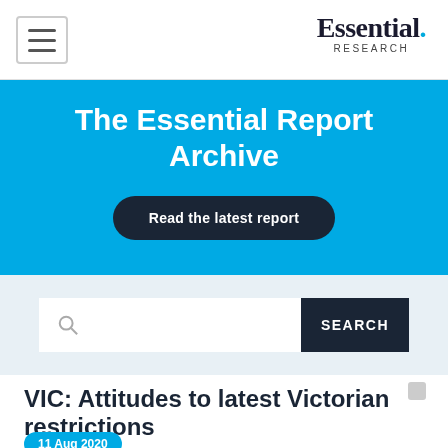Essential. RESEARCH
The Essential Report Archive
Read the latest report
[Figure (screenshot): Search bar with a text input field and a dark blue SEARCH button on a light blue-grey background]
VIC: Attitudes to latest Victorian restrictions
11 Aug 2020